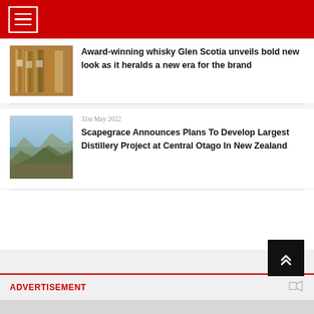Navigation menu header bar
[Figure (photo): Bottles of Glen Scotia whisky arranged together]
Award-winning whisky Glen Scotia unveils bold new look as it heralds a new era for the brand
31st May 2022
[Figure (photo): Aerial landscape view of Central Otago, New Zealand showing water and rocky terrain]
Scapegrace Announces Plans To Develop Largest Distillery Project at Central Otago In New Zealand
ADVERTISEMENT